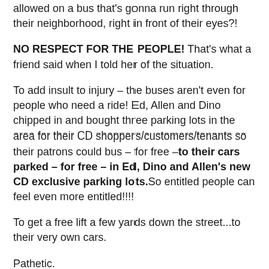allowed on a bus that's gonna run right through their neighborhood, right in front of their eyes?!
NO RESPECT FOR THE PEOPLE! That's what a friend said when I told her of the situation.
To add insult to injury – the buses aren't even for people who need a ride! Ed, Allen and Dino chipped in and bought three parking lots in the area for their CD shoppers/customers/tenants so their patrons could bus – for free –to their cars parked – for free – in Ed, Dino and Allen's new CD exclusive parking lots.So entitled people can feel even more entitled!!!!
To get a free lift a few yards down the street...to their very own cars.
Pathetic.
Then There Goes Kansas Ed, Allen, Dino set the loose...